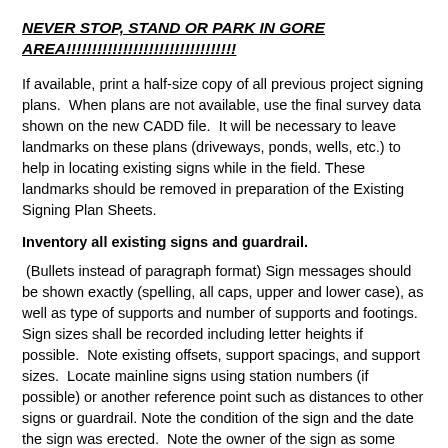NEVER STOP, STAND OR PARK IN GORE AREA!!!!!!!!!!!!!!!!!!!!!!!!!!!!!!!!!
If available, print a half-size copy of all previous project signing plans.  When plans are not available, use the final survey data shown on the new CADD file.  It will be necessary to leave landmarks on these plans (driveways, ponds, wells, etc.) to help in locating existing signs while in the field. These landmarks should be removed in preparation of the Existing Signing Plan Sheets.
Inventory all existing signs and guardrail.
(Bullets instead of paragraph format) Sign messages should be shown exactly (spelling, all caps, upper and lower case), as well as type of supports and number of supports and footings. Sign sizes shall be recorded including letter heights if possible.  Note existing offsets, support spacings, and support sizes.  Locate mainline signs using station numbers (if possible) or another reference point such as distances to other signs or guardrail. Note the condition of the sign and the date the sign was erected.  Note the owner of the sign as some signs may be erected and maintained by municipalities or